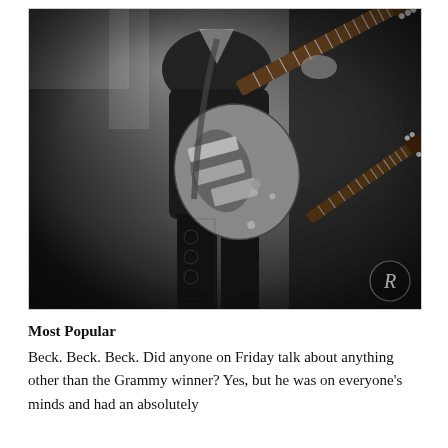[Figure (photo): Black and white photograph of a female guitarist on stage holding a Telecaster-style electric guitar, wearing a black outfit. A second guitar neck is visible in the lower right. A photographer's logo (stylized R) appears in the lower right corner.]
Most Popular
Beck. Beck. Beck. Did anyone on Friday talk about anything other than the Grammy winner? Yes, but he was on everyone's minds and had an absolutely